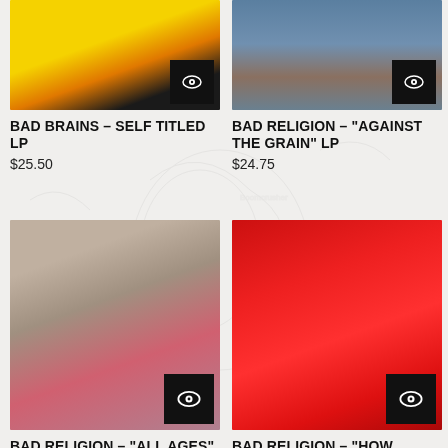[Figure (photo): Partial album cover for Bad Brains Self Titled LP, yellow and orange tones]
[Figure (photo): Partial album cover for Bad Religion Against The Grain LP, blue-grey tones]
BAD BRAINS - SELF TITLED LP
$25.50
BAD RELIGION - "AGAINST THE GRAIN" LP
$24.75
[Figure (photo): Album cover for Bad Religion All Ages LP, grey and red tones]
[Figure (photo): Album cover for Bad Religion How Could Hell LP, deep red tones]
BAD RELIGION - "ALL AGES" LP
$29.25
BAD RELIGION - "HOW COULD HELL..." LP
$23.99